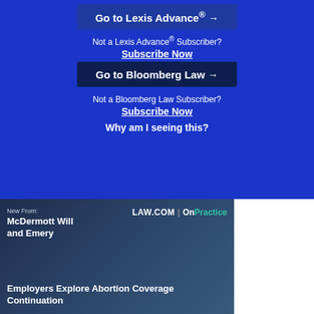Go to Lexis Advance® →
Not a Lexis Advance® Subscriber?
Subscribe Now
Go to Bloomberg Law →
Not a Bloomberg Law Subscriber?
Subscribe Now
Why am I seeing this?
New From:
McDermott Will and Emery
LAW.COM | OnPractice
Employers Explore Abortion Coverage Continuation